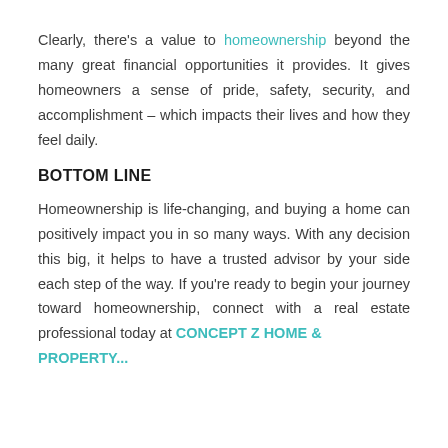Clearly, there's a value to homeownership beyond the many great financial opportunities it provides. It gives homeowners a sense of pride, safety, security, and accomplishment – which impacts their lives and how they feel daily.
BOTTOM LINE
Homeownership is life-changing, and buying a home can positively impact you in so many ways. With any decision this big, it helps to have a trusted advisor by your side each step of the way. If you're ready to begin your journey toward homeownership, connect with a real estate professional today at CONCEPT Z HOME & PROPERTY...